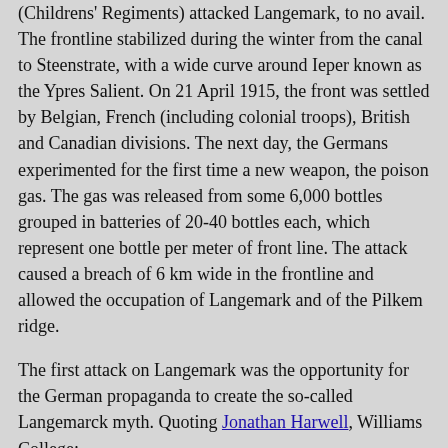(Childrens' Regiments) attacked Langemark, to no avail. The frontline stabilized during the winter from the canal to Steenstrate, with a wide curve around Ieper known as the Ypres Salient. On 21 April 1915, the front was settled by Belgian, French (including colonial troops), British and Canadian divisions. The next day, the Germans experimented for the first time a new weapon, the poison gas. The gas was released from some 6,000 bottles grouped in batteries of 20-40 bottles each, which represent one bottle per meter of front line. The attack caused a breach of 6 km wide in the frontline and allowed the occupation of Langemark and of the Pilkem ridge.
The first attack on Langemark was the opportunity for the German propaganda to create the so-called Langemarck myth. Quoting Jonathan Harwell, Williams College:
The myth of Langemarck is based on a single report from the German High Command on 11 November 1914. This report was repeated on the front pages of newspapers across the country. It read: "We made good progress yesterday in the Yser sector. West of Langemarck, young regiments broke forward with the song Deutschland, Deutschland, über alles against the front line of enemy positions and took them. Approximately 2000 men of the French infantry di...